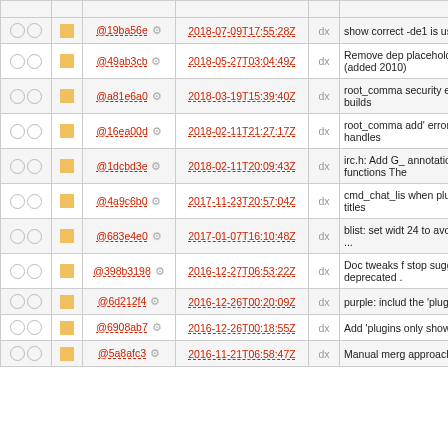|  |  | Hash | Date | dx | Description |
| --- | --- | --- | --- | --- | --- |
| ○ ○ | ■ | @19ba56e | 2018-07-09T17:55:28Z | dx | show correct -de1 is used |
| ○ ○ | ■ | @49ab3cb | 2018-05-27T03:04:49Z | dx | Remove dep placeholder f (added 2010) |
| ○ ○ | ■ | @a81e6a0 | 2018-03-19T15:39:40Z | dx | root_comma security erro debian builds |
| ○ ○ | ■ | @16ea00d | 2018-02-11T21:27:17Z | dx | root_comma add' error/su This handles |
| ○ ○ | ■ | @1dcbd3e | 2018-02-11T20:09:43Z | dx | irc.h: Add G_ annotations t functions The |
| ○ ○ | ■ | @4a9c6b0 | 2017-11-23T20:57:04Z | dx | cmd_chat_lis when plugins room titles |
| ○ ○ | ■ | @683e4e0 | 2017-01-07T16:10:48Z | dx | blist: set widt 24 to avoid tr was ... |
| ○ ○ | ■ | @398b3198 | 2016-12-27T06:53:22Z | dx | Doc tweaks f stop suggest deprecated . |
| ○ ○ | ■ | @6d212f4 | 2016-12-26T00:20:09Z | dx | purple: includ the 'plugins' |
| ○ ○ | ■ | @6908ab7 | 2016-12-26T00:18:55Z | dx | Add 'plugins only show pl |
| ○ ○ | ■ | @5a8afc3 | 2016-11-21T06:58:47Z | dx | Manual merg approach to l |